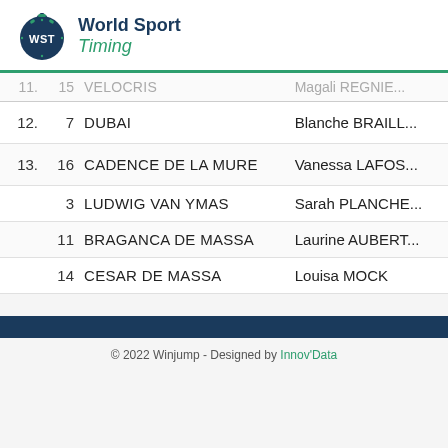[Figure (logo): World Sport Timing logo with stopwatch icon and text 'World Sport Timing']
| Rank | No. | Horse | Rider |
| --- | --- | --- | --- |
| 11. | 15 | VELOCRIS | Magali REGNIER |
| 12. | 7 | DUBAI | Blanche BRAILL |
| 13. | 16 | CADENCE DE LA MURE | Vanessa LAFOSS |
|  | 3 | LUDWIG VAN YMAS | Sarah PLANCHE |
|  | 11 | BRAGANCA DE MASSA | Laurine AUBERT |
|  | 14 | CESAR DE MASSA | Louisa MOCK |
© 2022 Winjump - Designed by Innov'Data